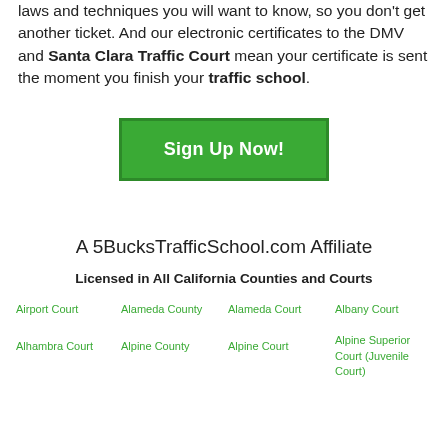laws and techniques you will want to know, so you don't get another ticket. And our electronic certificates to the DMV and Santa Clara Traffic Court mean your certificate is sent the moment you finish your traffic school.
[Figure (other): Green 'Sign Up Now!' button with white border and white bold text]
A 5BucksTrafficSchool.com Affiliate
Licensed in All California Counties and Courts
Airport Court
Alameda County
Alameda Court
Albany Court
Alhambra Court
Alpine County
Alpine Court
Alpine Superior Court (Juvenile Court)